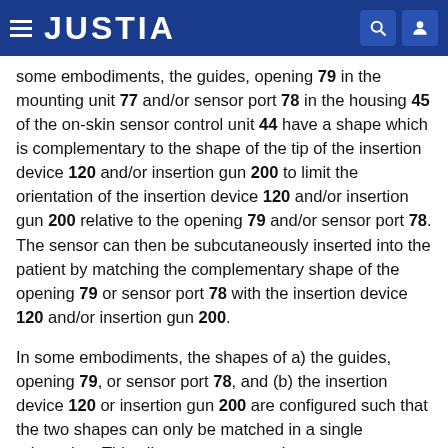JUSTIA
some embodiments, the guides, opening 79 in the mounting unit 77 and/or sensor port 78 in the housing 45 of the on-skin sensor control unit 44 have a shape which is complementary to the shape of the tip of the insertion device 120 and/or insertion gun 200 to limit the orientation of the insertion device 120 and/or insertion gun 200 relative to the opening 79 and/or sensor port 78. The sensor can then be subcutaneously inserted into the patient by matching the complementary shape of the opening 79 or sensor port 78 with the insertion device 120 and/or insertion gun 200.
In some embodiments, the shapes of a) the guides, opening 79, or sensor port 78, and (b) the insertion device 120 or insertion gun 200 are configured such that the two shapes can only be matched in a single orientation. This alignment ensures the correct...